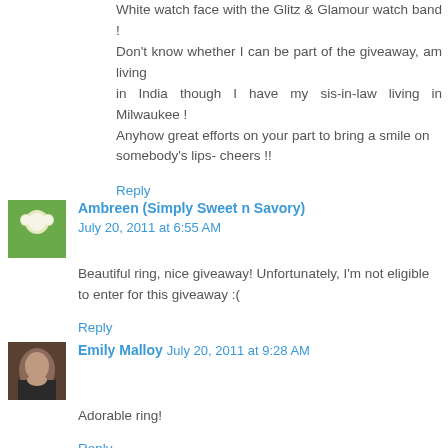White watch face with the Glitz & Glamour watch band ! Don't know whether I can be part of the giveaway, am living in India though I have my sis-in-law living in Milwaukee ! Anyhow great efforts on your part to bring a smile on somebody's lips- cheers !!
Reply
Ambreen (Simply Sweet n Savory) July 20, 2011 at 6:55 AM
Beautiful ring, nice giveaway! Unfortunately, I'm not eligible to enter for this giveaway :(
Reply
Emily Malloy July 20, 2011 at 9:28 AM
Adorable ring!
Reply